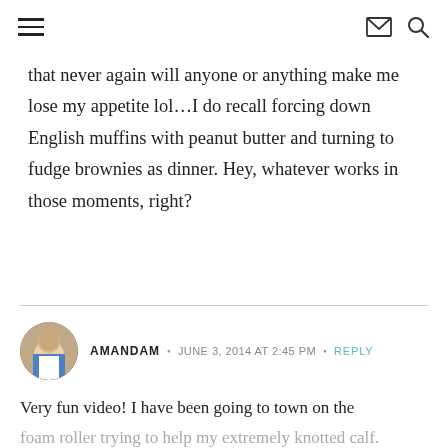Navigation header with hamburger menu, mail icon, and search icon
that never again will anyone or anything make me lose my appetite lol…I do recall forcing down English muffins with peanut butter and turning to fudge brownies as dinner. Hey, whatever works in those moments, right?
AMANDAM · JUNE 3, 2014 AT 2:45 PM · REPLY
Very fun video! I have been going to town on the foam roller trying to help my extremely knotted calf. It really seems to be working. I think the key is that it